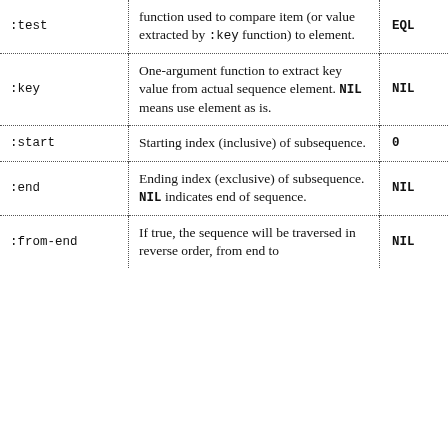| Key | Description | Default |
| --- | --- | --- |
| :test | function used to compare item (or value extracted by :key function) to element. | EQL |
| :key | One-argument function to extract key value from actual sequence element. NIL means use element as is. | NIL |
| :start | Starting index (inclusive) of subsequence. | 0 |
| :end | Ending index (exclusive) of subsequence. NIL indicates end of sequence. | NIL |
| :from-end | If true, the sequence will be traversed in reverse order, from end to | NIL |